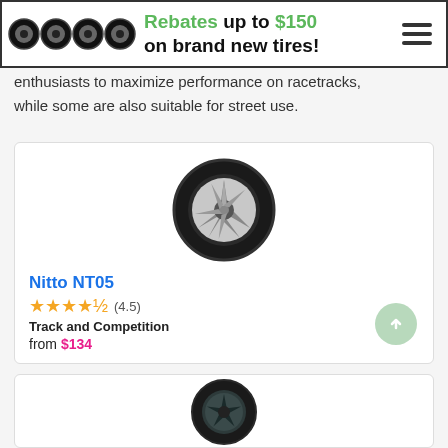[Figure (infographic): Banner advertisement showing four black wheels/tires and text 'Rebates up to $150 on brand new tires!' with a hamburger menu icon]
enthusiasts to maximize performance on racetracks, while some are also suitable for street use.
[Figure (photo): Nitto NT05 tire mounted on a chrome 5-spoke wheel, shown at an angle]
Nitto NT05
★★★★½ (4.5)
Track and Competition
from $134
[Figure (photo): Second tire product image showing a dark tire on a dark 5-spoke wheel, shown at an angle]